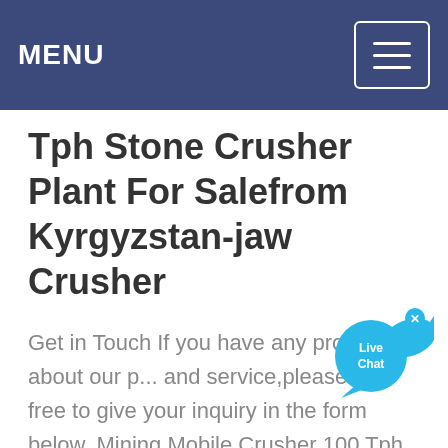MENU
Tph Stone Crusher Plant For Salefrom Kyrgyzstan-jaw Crusher
Get in Touch If you have any problems about our p... and service,please feel free to give your inquiry in the form below. Mining Mobile Crusher 100 Tph Kyrgyzstan Kavin Mining Stone crusher nevafrom kyrgyzstan 250 250 tph mobile crushing plant for salefrom ...